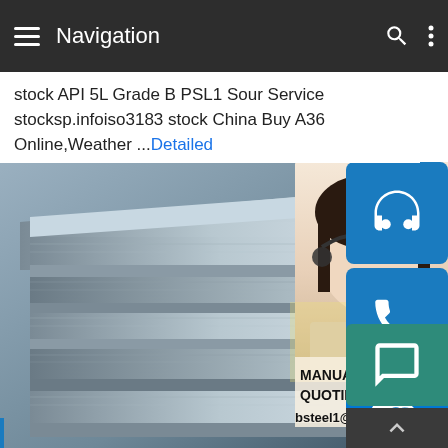Navigation
stock API 5L Grade B PSL1 Sour Service stocksp.infoiso3183 stock China Buy A36 Online,Weather ...Detailed
[Figure (photo): Stack of steel plates/flat bars in a warehouse setting, with a customer service representative (woman with headset) visible on the right side, overlaid with contact icons (headset, phone, Skype) and text: MANUAL SE[RVICE], QUOTING O[NLINE], bsteel1@163.com]
MANUAL SE[RVICE] QUOTING O[NLINE] bsteel1@163.com